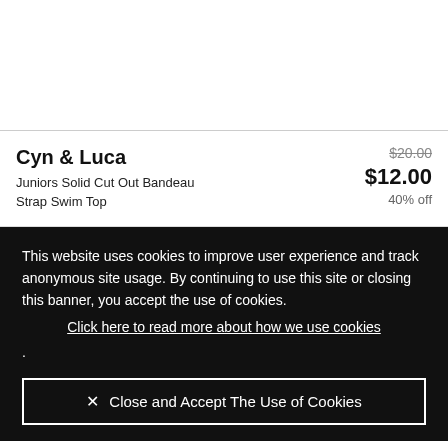[Figure (photo): White empty top section of a retail product page]
Cyn & Luca
Juniors Solid Cut Out Bandeau Strap Swim Top
$20.00 $12.00 40% off
This website uses cookies to improve user experience and track anonymous site usage. By continuing to use this site or closing this banner, you accept the use of cookies. Click here to read more about how we use cookies .
× Close and Accept The Use of Cookies